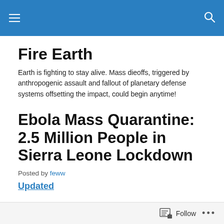Fire Earth [navigation bar with hamburger menu and search icon]
Fire Earth
Earth is fighting to stay alive. Mass dieoffs, triggered by anthropogenic assault and fallout of planetary defense systems offsetting the impact, could begin anytime!
Ebola Mass Quarantine: 2.5 Million People in Sierra Leone Lockdown
Posted by feww
Updated
Follow ...